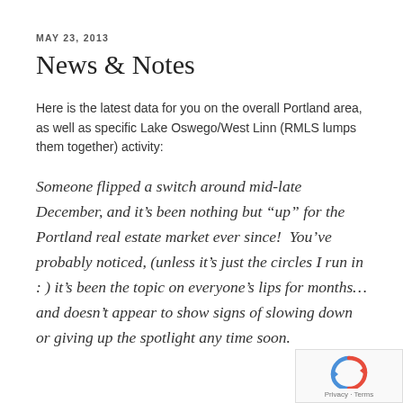MAY 23, 2013
News & Notes
Here is the latest data for you on the overall Portland area, as well as specific Lake Oswego/West Linn (RMLS lumps them together) activity:
Someone flipped a switch around mid-late December, and it’s been nothing but “up” for the Portland real estate market ever since!  You’ve probably noticed, (unless it’s just the circles I run in : ) it’s been the topic on everyone’s lips for months… and doesn’t appear to show signs of slowing down or giving up the spotlight any time soon.
[Figure (logo): reCAPTCHA badge with Privacy and Terms links]